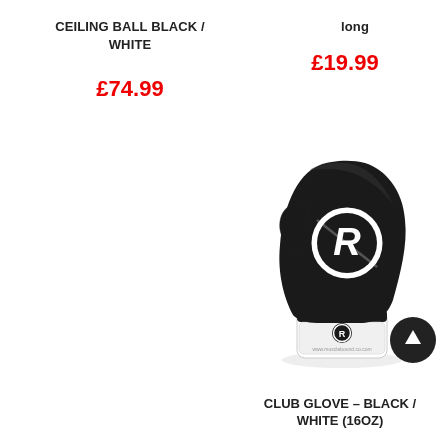CEILING BALL BLACK / WHITE
£74.99
long
£19.99
[Figure (photo): Black and white boxing glove with 'R' logo (Ringside brand), front-facing view on white background with watermark]
CLUB GLOVE – BLACK / WHITE (16OZ)